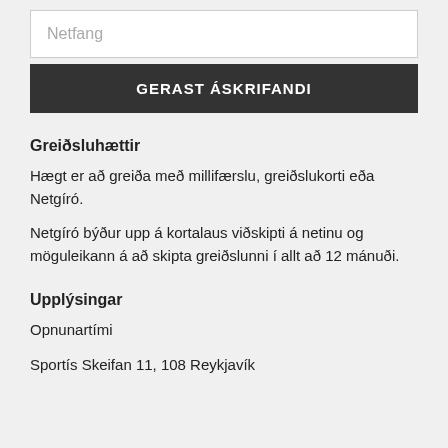Netfang
GERAST ÁSKRIFANDI
Greiðsluhættir
Hægt er að greiða með millifærslu, greiðslukorti eða Netgíró.
Netgíró býður upp á kortalaus viðskipti á netinu og möguleikann á að skipta greiðslunni í allt að 12 mánuði.
Upplýsingar
Opnunartími
Sportís Skeifan 11, 108 Reykjavík